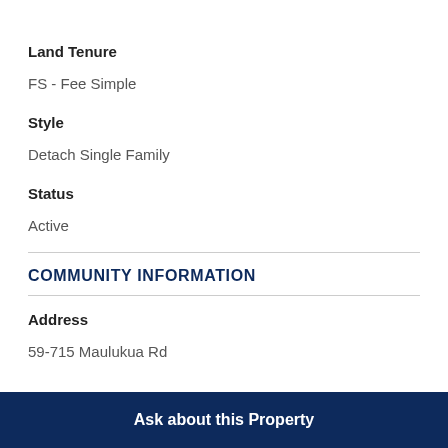Land Tenure
FS - Fee Simple
Style
Detach Single Family
Status
Active
COMMUNITY INFORMATION
Address
59-715 Maulukua Rd
Ask about this Property